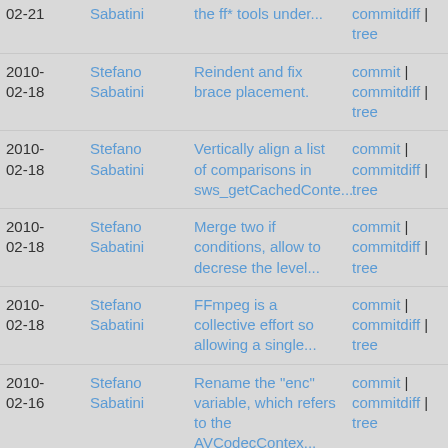| Date | Author | Message | Links |
| --- | --- | --- | --- |
| 2010-02-21 | Stefano Sabatini | the ff* tools under... | commitdiff | tree |
| 2010-02-18 | Stefano Sabatini | Reindent and fix brace placement. | commit | commitdiff | tree |
| 2010-02-18 | Stefano Sabatini | Vertically align a list of comparisons in sws_getCachedConte... | commit | commitdiff | tree |
| 2010-02-18 | Stefano Sabatini | Merge two if conditions, allow to decrese the level... | commit | commitdiff | tree |
| 2010-02-18 | Stefano Sabatini | FFmpeg is a collective effort so allowing a single... | commit | commitdiff | tree |
| 2010-02-16 | Stefano Sabatini | Rename the "enc" variable, which refers to the AVCodecContex... | commit | commitdiff | tree |
| 2010-02-16 | Stefano Sabatini | Move read_line() and write_line() definition from pixdesc... | commit | commitdiff | tree |
| 2010- | Stefano | Add my name to CREDITS. | commit | |